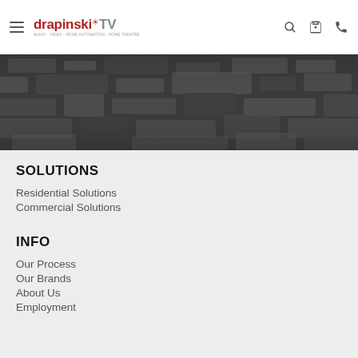drapinski TV — navigation header with hamburger menu, logo, search, cart, phone icons
[Figure (photo): Black and white textured background hero image, appears to show a rocky or gravelly surface]
SOLUTIONS
Residential Solutions
Commercial Solutions
INFO
Our Process
Our Brands
About Us
Employment